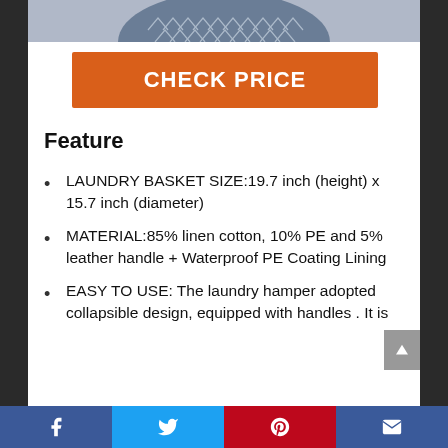[Figure (photo): Top portion of a laundry basket with arrow/chevron pattern in grey and white, circular crop visible at top of page]
CHECK PRICE
Feature
LAUNDRY BASKET SIZE:19.7 inch (height) x 15.7 inch (diameter)
MATERIAL:85% linen cotton, 10% PE and 5% leather handle + Waterproof PE Coating Lining
EASY TO USE: The laundry hamper adopted collapsible design, equipped with handles . It is
Facebook | Twitter | Pinterest | Email